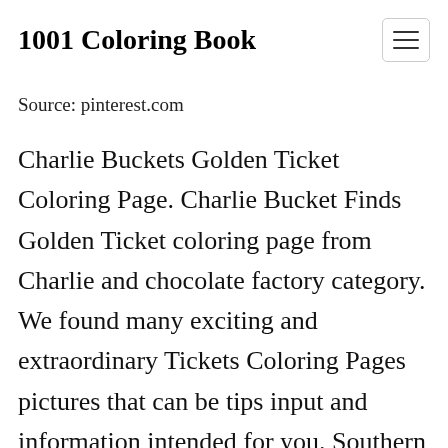1001 Coloring Book
Source: pinterest.com
Charlie Buckets Golden Ticket Coloring Page. Charlie Bucket Finds Golden Ticket coloring page from Charlie and chocolate factory category. We found many exciting and extraordinary Tickets Coloring Pages pictures that can be tips input and information intended for you. Southern miss softball official athletic site. Ticket